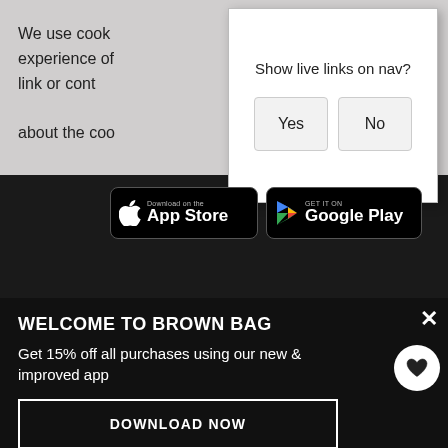We use cook experience of link or cont about the coo
Show live links on nav?
Yes
No
[Figure (screenshot): App Store and Google Play download badges on black background]
[Figure (screenshot): Payment card icons: Visa, Mastercard and others]
WELCOME TO BROWN BAG
Get 15% off all purchases using our new & improved app
DOWNLOAD NOW
*Excludes clearance, sale & any other promotion